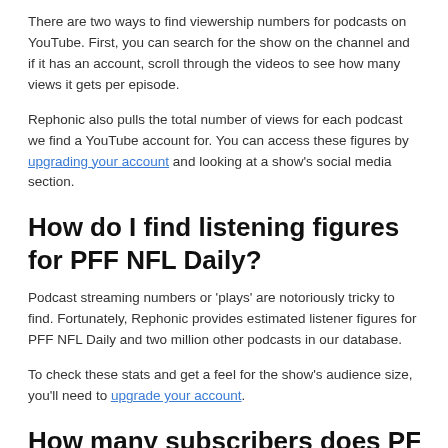There are two ways to find viewership numbers for podcasts on YouTube. First, you can search for the show on the channel and if it has an account, scroll through the videos to see how many views it gets per episode.
Rephonic also pulls the total number of views for each podcast we find a YouTube account for. You can access these figures by upgrading your account and looking at a show's social media section.
How do I find listening figures for PFF NFL Daily?
Podcast streaming numbers or 'plays' are notoriously tricky to find. Fortunately, Rephonic provides estimated listener figures for PFF NFL Daily and two million other podcasts in our database.
To check these stats and get a feel for the show's audience size, you'll need to upgrade your account.
How many subscribers does PFF NFL